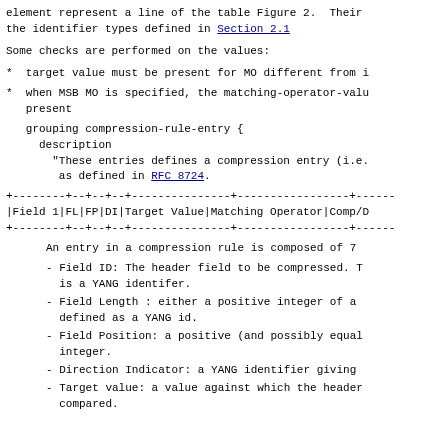element represent a line of the table Figure 2.  Their the identifier types defined in Section 2.1
Some checks are performed on the values:
*  target value must be present for MO different from i
*  when MSB MO is specified, the matching-operator-valu present
grouping compression-rule-entry {
     description
       "These entries defines a compression entry (i.e.
        as defined in RFC 8724.
| Field 1 | FL | FP | DI | Target Value | Matching Operator | Comp/D |
| --- | --- | --- | --- | --- | --- | --- |
An entry in a compression rule is composed of 7
- Field ID: The header field to be compressed. T is a YANG identifer.
- Field Length : either a positive integer of a defined as a YANG id.
- Field Position: a positive (and possibly equal integer.
- Direction Indicator: a YANG identifier giving
- Target value: a value against which the header compared.